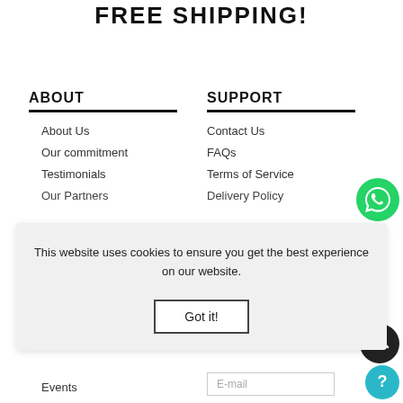FREE SHIPPING!
ABOUT
About Us
Our commitment
Testimonials
Our Partners
SUPPORT
Contact Us
FAQs
Terms of Service
Delivery Policy
This website uses cookies to ensure you get the best experience on our website.
Got it!
Events
E-mail